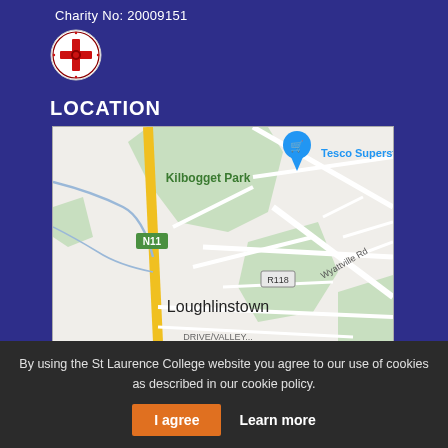Charity No: 20009151
[Figure (logo): St Laurence College circular logo with red cross and decorative border on white background]
LOCATION
[Figure (map): Google Maps view showing Kilbogget Park, Tesco Superstore, N11 road, R118 road, Wyattville Rd, and Loughlinstown area]
By using the St Laurence College website you agree to our use of cookies as described in our cookie policy.
I agree
Learn more